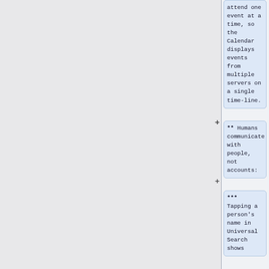attend one event at a time, so the Calendar displays events from multiple servers on a single time-line.
** Humans communicate with people, not accounts:
*** Tapping a person's name in Universal Search shows